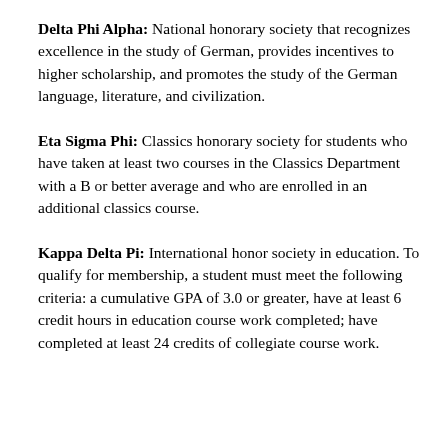Delta Phi Alpha: National honorary society that recognizes excellence in the study of German, provides incentives to higher scholarship, and promotes the study of the German language, literature, and civilization.
Eta Sigma Phi: Classics honorary society for students who have taken at least two courses in the Classics Department with a B or better average and who are enrolled in an additional classics course.
Kappa Delta Pi: International honor society in education. To qualify for membership, a student must meet the following criteria: a cumulative GPA of 3.0 or greater, have at least 6 credit hours in education course work completed; have completed at least 24 credits of collegiate course work.